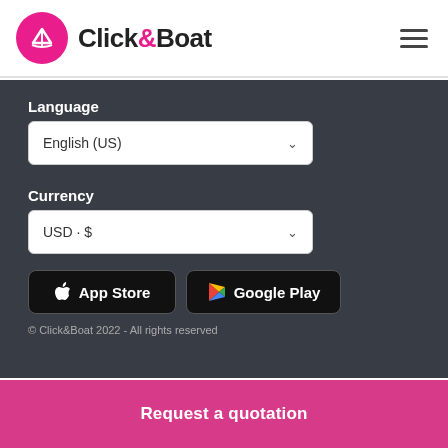Click&Boat
Language
English (US)
Currency
USD · $
[Figure (logo): App Store button (Apple)]
[Figure (logo): Google Play button]
© Click&Boat 2022 - All rights reserved
Request a quotation